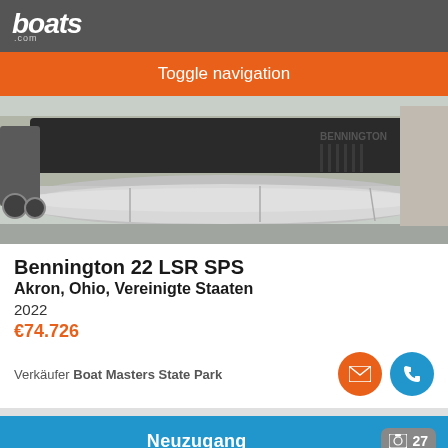boats.com
Toggle navigation
[Figure (photo): Side view of a silver Bennington pontoon boat on a trailer in a parking lot]
Bennington 22 LSR SPS
Akron, Ohio, Vereinigte Staaten
2022
€74.726
Verkäufer Boat Masters State Park
Neuzugang
27
Sortieren nach
Suche anpassen